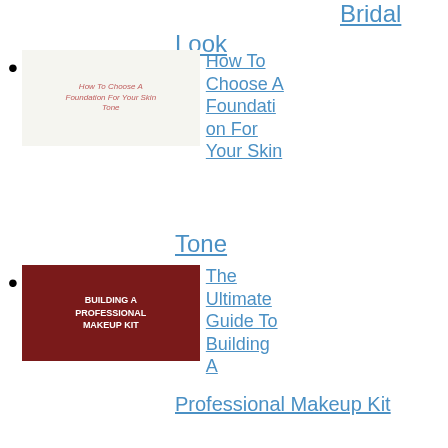Bridal Look
[Figure (photo): How To Choose A Foundation For Your Skin Tone - thumbnail with makeup products]
How To Choose A Foundation For Your Skin Tone
[Figure (photo): Building A Professional Makeup Kit - dark red thumbnail with mirror and text]
The Ultimate Guide To Building A Professional Makeup Kit
[Figure (photo): A Crash Course In Finding The Right Foundation For Your Face - two women with makeup]
A Crash Course In Finding The Right Foundation For Your Face
[Figure (photo): 3 Cute makeup ideas to - two women thumbnail]
3 Cute makeup ideas to